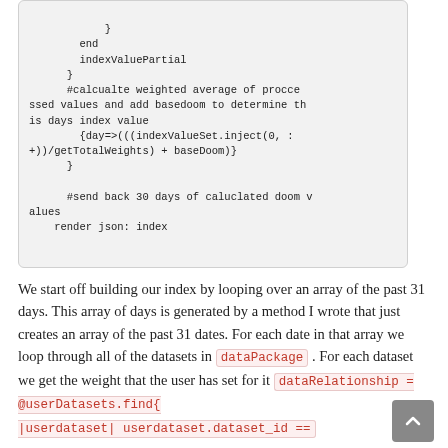}
        end
        indexValuePartial
      }
      #calcualte weighted average of processed values and add basedoom to determine this days index value
        {day=>((indexValueSet.inject(0, :+))/getTotalWeights) + baseDoom)}
      }

      #send back 30 days of caluclated doom values
    render json: index
We start off building our index by looping over an array of the past 31 days. This array of days is generated by a method I wrote that just creates an array of the past 31 dates. For each date in that array we loop through all of the datasets in dataPackage . For each dataset we get the weight that the user has set for it dataRelationship = @userDatasets.find{ |userdataset| userdataset.dataset_id ==